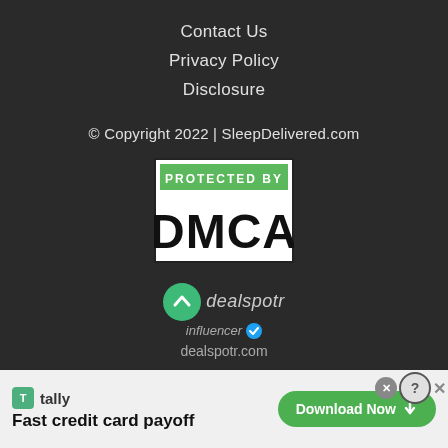Contact Us
Privacy Policy
Disclosure
© Copyright 2022 | SleepDelivered.com
[Figure (logo): DMCA Protected By badge — black and white badge with green 'PROTECTED BY' banner and large bold 'DMCA' text]
[Figure (logo): Dealspotr influencer badge — green circle with up-chevron icon, 'dealspotr' italic brand name, 'influencer' label with blue checkmark]
dealspotr.com
[Figure (screenshot): Tally app advertisement banner — 'Fast credit card payoff' with Download Now button]